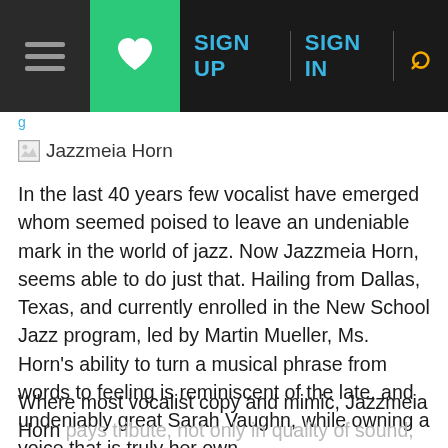[Figure (screenshot): Website navigation bar with dark background containing hamburger menu icon, green heart/favorite button, SIGN UP and SIGN IN text links in blue, and a yellow search icon]
[Figure (other): Broken image placeholder icon followed by text 'Jazzmeia Horn']
In the last 40 years few vocalist have emerged whom seemed poised to leave an undeniable mark in the world of jazz. Now Jazzmeia Horn, seems able to do just that. Hailing from Dallas, Texas, and currently enrolled in the New School Jazz program, led by Martin Mueller, Ms. Horn's ability to turn a musical phrase from words to feeling is reminiscent of the late, and undeniably great Sarah Vaughn, while owning a voice that is truly her own.
Where most vocalist copy and mimic, Jazzmeia Horn pays tribute, not only in quality of sound, but through that own originally unique force that makes the